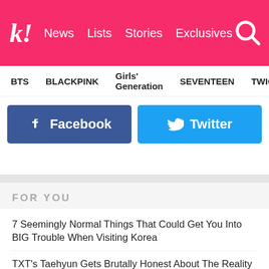k! News Lists Stories Exclusives
BTS  BLACKPINK  Girls' Generation  SEVENTEEN  TWICE
[Figure (other): Facebook and Twitter social share buttons]
FOR YOU
7 Seemingly Normal Things That Could Get You Into BIG Trouble When Visiting Korea
TXT's Taehyun Gets Brutally Honest About The Reality Of Working Overtime As A K-Pop Idol
7 Iconic BTS CFs Even Some ARMYs Might Not Know Of
NCT's Chenle Shuts Down Accusations Of Lip-Syncing In The Classiest Way